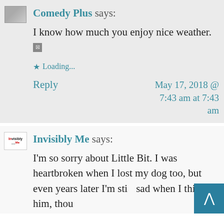[Figure (photo): Avatar thumbnail image for Comedy Plus user]
Comedy Plus says:
I know how much you enjoy nice weather. 🗷
Loading...
Reply
May 17, 2018 @ 7:43 am at 7:43 am
[Figure (logo): Invisibly Me blog logo avatar]
Invisibly Me says:
I'm so sorry about Little Bit. I was heartbroken when I lost my dog too, but even years later I'm still sad when I think of him, though